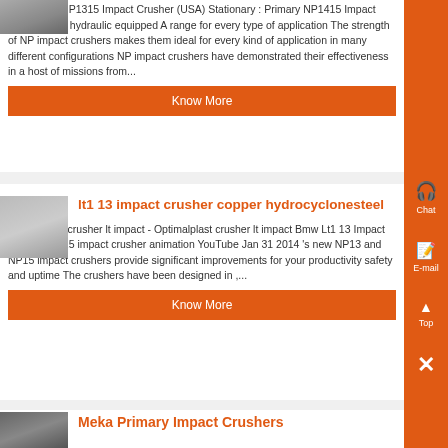Secondary NP1315 Impact Crusher (USA) Stationary : Primary NP1415 Impact Crusher fully hydraulic equipped A range for every type of application The strength of NP impact crushers makes them ideal for every kind of application in many different configurations NP impact crushers have demonstrated their effectiveness in a host of missions from...
Know More
lt1 13 impact crusher copper hydrocyclonesteel
05-05-2020· crusher lt impact - Optimalplast crusher lt impact Bmw Lt1 13 Impact Crusher NP15 impact crusher animation YouTube Jan 31 2014 's new NP13 and NP15 impact crushers provide significant improvements for your productivity safety and uptime The crushers have been designed in ,...
Know More
Meka Primary Impact Crushers
[Figure (photo): Small thumbnail image at top left, likely showing equipment or machinery]
[Figure (photo): Small thumbnail image showing metal rails or crusher components]
[Figure (photo): Small thumbnail image showing industrial equipment, dark tones]